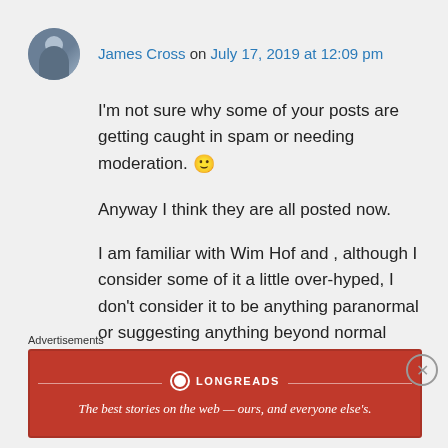James Cross on July 17, 2019 at 12:09 pm
I'm not sure why some of your posts are getting caught in spam or needing moderation. 🙂
Anyway I think they are all posted now.
I am familiar with Wim Hof and , although I consider some of it a little over-hyped, I don't consider it to be anything paranormal or suggesting anything beyond normal range of human capabilities. Wim himself may have some genetic advantages but I
Advertisements
[Figure (other): Longreads advertisement banner: red background with Longreads logo and tagline 'The best stories on the web — ours, and everyone else's.']